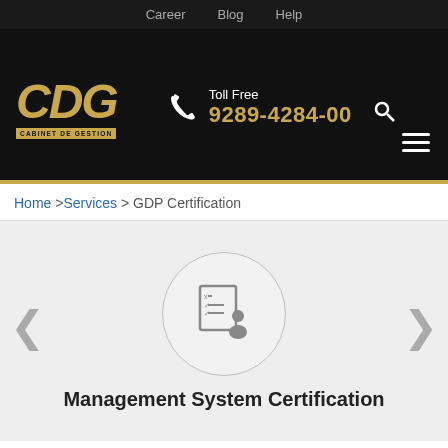Career  Blog  Help
[Figure (logo): CDG Cabinet De Gestion logo in gold on black background, with phone number Toll Free 9289-4284-00]
Home >Services > GDP Certification
[Figure (illustration): Management System Certification icon: a document/checklist with a person silhouette inside a circle, with left and right navigation arrows]
Management System Certification